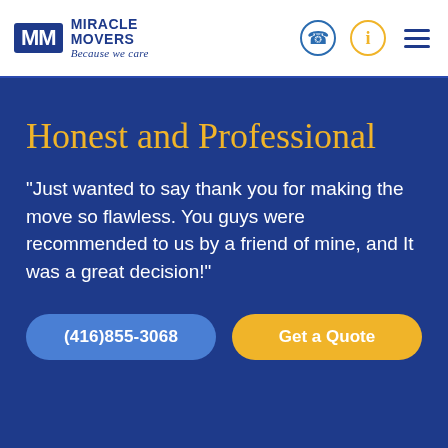Miracle Movers — Because we care
Honest and Professional
"Just wanted to say thank you for making the move so flawless. You guys were recommended to us by a friend of mine, and It was a great decision!"
(416)855-3068
Get a Quote